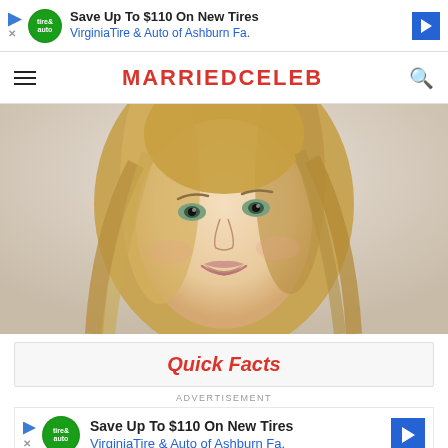[Figure (infographic): Advertisement banner: Save Up To $110 On New Tires - Virginia Tire & Auto of Ashburn Fa.]
MARRIEDCELEB
[Figure (photo): Close-up portrait of a young blonde woman smiling, with long wavy hair and light eyes, against a light gray background.]
Quick Facts
ADVERTISEMENT
[Figure (infographic): Advertisement banner: Save Up To $110 On New Tires - Virginia Tire & Auto of Ashburn Fa.]